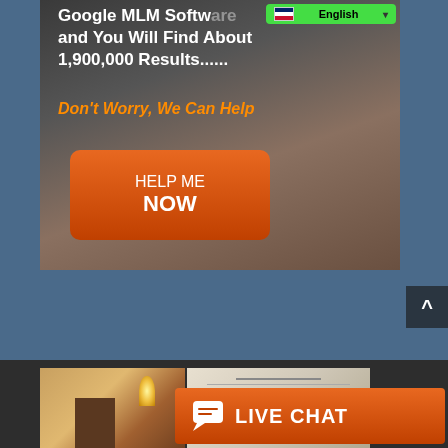[Figure (screenshot): Website advertisement card showing text 'Google MLM Software and You Will Find About 1,900,000 Results.....' with an English language selector dropdown (green bar, UK flag), orange italic text 'Don't Worry, We Can Help', and an orange rounded button labeled 'HELP ME NOW', all overlaid on a laptop/person background image. Below the card is a blue background section. A dark scroll-to-top arrow button appears at right.]
[Figure (screenshot): Bottom section showing dark background with two thumbnail images side by side (left: warm-toned photo of a conference room/podium with wall sconce lighting; right: lighter photo of a presentation/document), and an orange 'LIVE CHAT' button with chat bubble icon overlapping the right thumbnail.]